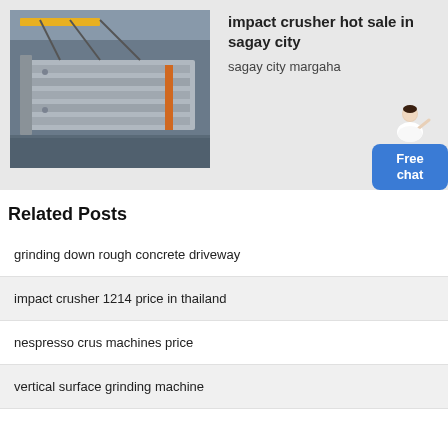[Figure (photo): Industrial machinery (vibrating screen or conveyor equipment) in a factory/warehouse setting, showing metal frames and components suspended by cables.]
impact crusher hot sale in sagay city
sagay city margaha
Related Posts
grinding down rough concrete driveway
impact crusher 1214 price in thailand
nespresso crus machines price
vertical surface grinding machine